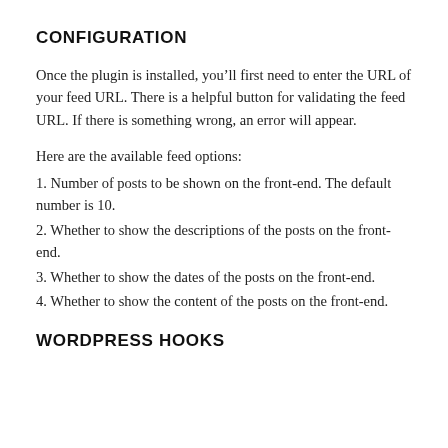CONFIGURATION
Once the plugin is installed, you’ll first need to enter the URL of your feed URL. There is a helpful button for validating the feed URL. If there is something wrong, an error will appear.
Here are the available feed options:
1. Number of posts to be shown on the front-end. The default number is 10.
2. Whether to show the descriptions of the posts on the front-end.
3. Whether to show the dates of the posts on the front-end.
4. Whether to show the content of the posts on the front-end.
WORDPRESS HOOKS